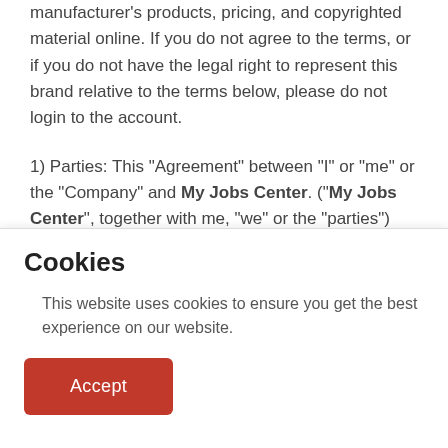manufacturer's products, pricing, and copyrighted material online. If you do not agree to the terms, or if you do not have the legal right to represent this brand relative to the terms below, please do not login to the account.
1) Parties: This "Agreement" between "I" or "me" or the "Company" and My Jobs Center. ("My Jobs Center", together with me, "we" or the "parties") governs the relationship between the parties. The parties agree to conduct this transaction and permit the creation of this Agreement by
Cookies
This website uses cookies to ensure you get the best experience on our website.